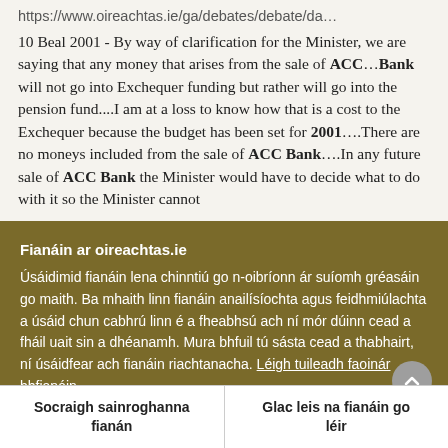https://www.oireachtas.ie/ga/debates/debate/da…
10 Beal 2001 - By way of clarification for the Minister, we are saying that any money that arises from the sale of ACC…Bank will not go into Exchequer funding but rather will go into the pension fund....I am at a loss to know how that is a cost to the Exchequer because the budget has been set for 2001….There are no moneys included from the sale of ACC Bank….In any future sale of ACC Bank the Minister would have to decide what to do with it so the Minister cannot
Fianáin ar oireachtas.ie
Úsáidimid fianáin lena chinntiú go n-oibríonn ár suíomh gréasáin go maith. Ba mhaith linn fianáin anailísíochta agus feidhmiúlachta a úsáid chun cabhrú linn é a fheabhsú ach ní mór dúinn cead a fháil uait sin a dhéanamh. Mura bhfuil tú sásta cead a thabhairt, ní úsáidfear ach fianáin riachtanacha. Léigh tuileadh faoinár bhfianáin
Socraigh sainroghanna fianán
Glac leis na fianáin go léir